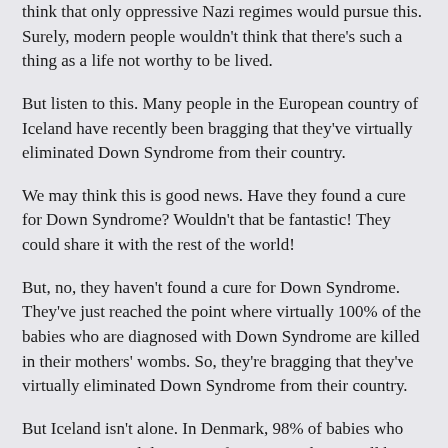think that only oppressive Nazi regimes would pursue this. Surely, modern people wouldn't think that there's such a thing as a life not worthy to be lived.
But listen to this. Many people in the European country of Iceland have recently been bragging that they've virtually eliminated Down Syndrome from their country.
We may think this is good news. Have they found a cure for Down Syndrome? Wouldn't that be fantastic! They could share it with the rest of the world!
But, no, they haven't found a cure for Down Syndrome. They've just reached the point where virtually 100% of the babies who are diagnosed with Down Syndrome are killed in their mothers' wombs. So, they're bragging that they've virtually eliminated Down Syndrome from their country.
But Iceland isn't alone. In Denmark, 98% of babies who receive a prenatal diagnosis of Down Syndrome will be aborted. In the UK, the number is 90%. In France, it's 77%. In the USA, it's 67%. That's 2 out of every 3